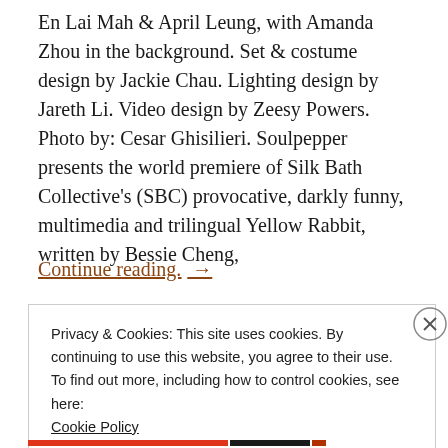En Lai Mah & April Leung, with Amanda Zhou in the background. Set & costume design by Jackie Chau. Lighting design by Jareth Li. Video design by Zeesy Powers. Photo by: Cesar Ghisilieri. Soulpepper presents the world premiere of Silk Bath Collective's (SBC) provocative, darkly funny, multimedia and trilingual Yellow Rabbit, written by Bessie Cheng,
Continue reading. →
Privacy & Cookies: This site uses cookies. By continuing to use this website, you agree to their use. To find out more, including how to control cookies, see here: Cookie Policy
Close and accept